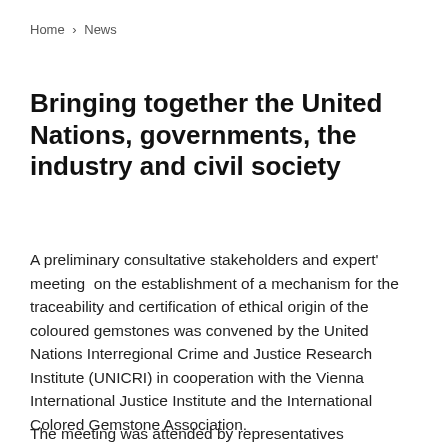Home > News
Bringing together the United Nations, governments, the industry and civil society
A preliminary consultative stakeholders and expert' meeting  on the establishment of a mechanism for the traceability and certification of ethical origin of the coloured gemstones was convened by the United Nations Interregional Crime and Justice Research Institute (UNICRI) in cooperation with the Vienna International Justice Institute and the International Colored Gemstone Association.
The meeting was attended by representatives